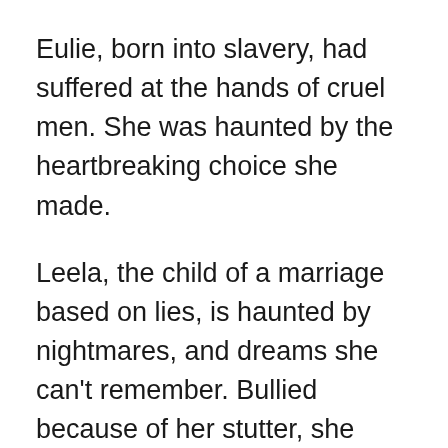Eulie, born into slavery, had suffered at the hands of cruel men. She was haunted by the heartbreaking choice she made.
Leela, the child of a marriage based on lies, is haunted by nightmares, and dreams she can't remember. Bullied because of her stutter, she refuses to speak. More than anything, she wants to be like other teenage girls.
When Leela goes to live in her